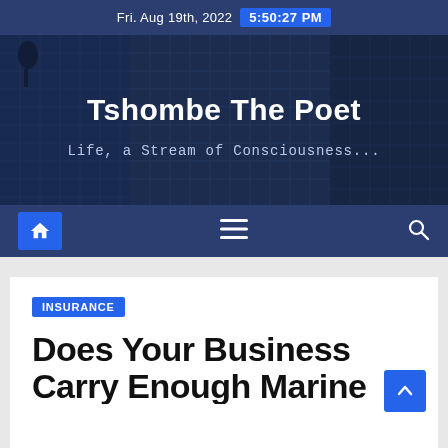Fri. Aug 19th, 2022  5:50:27 PM
[Figure (illustration): Website hero banner showing a city skyline of glass skyscrapers viewed from below, with a dark blue overlay. Title 'Tshombe The Poet' and subtitle 'Life, a Stream of Consciousness...' overlaid in white text.]
Tshombe The Poet
Life, a Stream of Consciousness...
[Figure (infographic): Navigation bar with dark navy blue background showing a blue home icon button on the left, a hamburger menu icon in the center, and a search magnifying glass icon on the right.]
INSURANCE
Does Your Business Carry Enough Marine